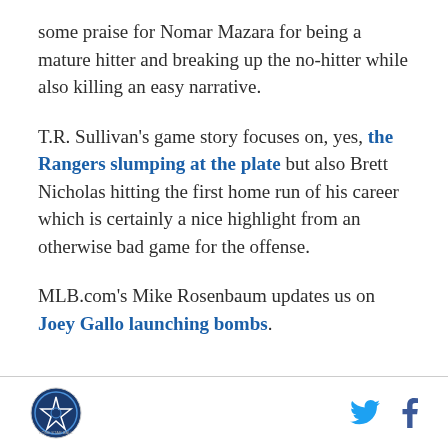some praise for Nomar Mazara for being a mature hitter and breaking up the no-hitter while also killing an easy narrative.
T.R. Sullivan's game story focuses on, yes, the Rangers slumping at the plate but also Brett Nicholas hitting the first home run of his career which is certainly a nice highlight from an otherwise bad game for the offense.
MLB.com's Mike Rosenbaum updates us on Joey Gallo launching bombs.
[Rangers logo] [Twitter icon] [Facebook icon]